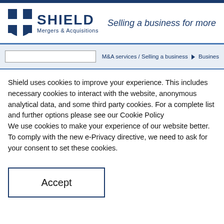[Figure (logo): Shield Mergers & Acquisitions logo with blue shield icon and company name]
Selling a business for more – Ir
M&A services / Selling a business ▶ Busines
Shield uses cookies to improve your experience. This includes necessary cookies to interact with the website, anonymous analytical data, and some third party cookies. For a complete list and further options please see our Cookie Policy
We use cookies to make your experience of our website better. To comply with the new e-Privacy directive, we need to ask for your consent to set these cookies.
Accept